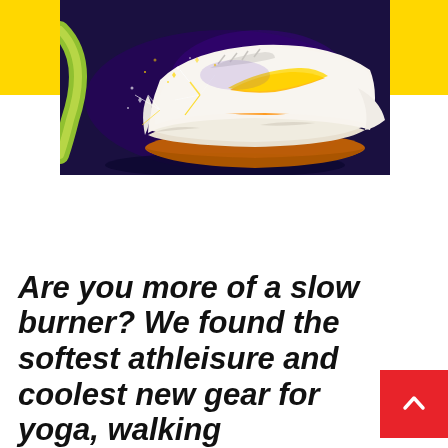[Figure (photo): A glowing orange and white athletic sneaker (Nike style) with sparks flying around it, set against a dark blue/purple background. Yellow rectangular bars flank the left and right sides at the top.]
Are you more of a slow burner? We found the softest athleisure and coolest new gear for yoga, walking